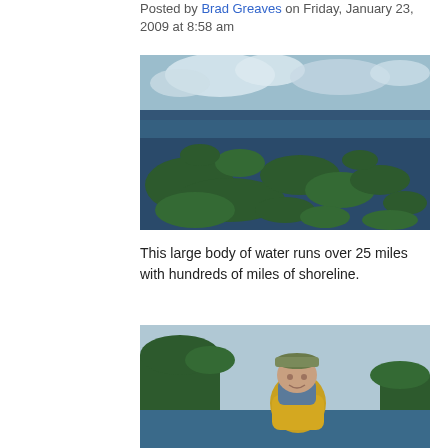Posted by Brad Greaves on Friday, January 23, 2009 at 8:58 am
[Figure (photo): Aerial photograph of a large body of water with forested islands and winding channels under a partly cloudy sky]
This large body of water runs over 25 miles with hundreds of miles of shoreline.
[Figure (photo): A man wearing a camo cap and yellow life jacket smiling on the water with forested shoreline in the background]